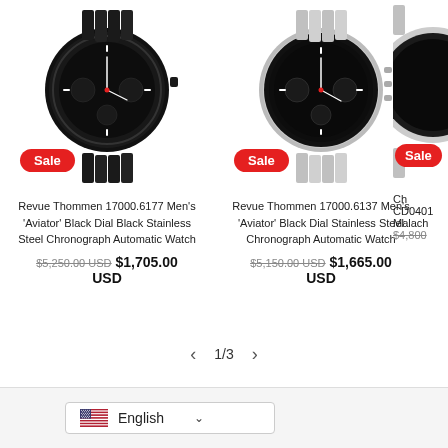[Figure (photo): Revue Thommen black chronograph watch with black bezel and bracelet]
Sale
Revue Thommen 17000.6177 Men's 'Aviator' Black Dial Black Stainless Steel Chronograph Automatic Watch
$5,250.00 USD  $1,705.00 USD
[Figure (photo): Revue Thommen silver chronograph watch with black dial and silver bracelet]
Sale
Revue Thommen 17000.6137 Men's 'Aviator' Black Dial Stainless Steel Chronograph Automatic Watch
$5,150.00 USD  $1,665.00 USD
[Figure (photo): Partial view of third watch product (Ch... CD0401... Malach...)]
Sale
$4,800...
1/3
English